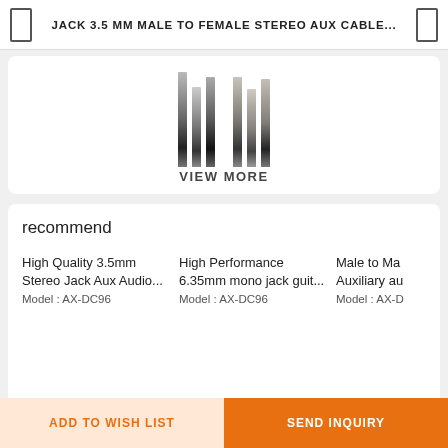JACK 3.5 MM MALE TO FEMALE STEREO AUX CABLE...
[Figure (photo): Product image of 3.5mm stereo aux cable connectors with VIEW MORE label]
recommend
High Quality 3.5mm Stereo Jack Aux Audio...
Model : AX-DC96
High Performance 6.35mm mono jack guit...
Model : AX-DC96
Male to Ma Auxiliary au
Model : AX-D
KeyWords
3.5mm extension cable
3.5mm female cable
3.5mm audio cable
ADD TO WISH LIST    SEND INQUIRY